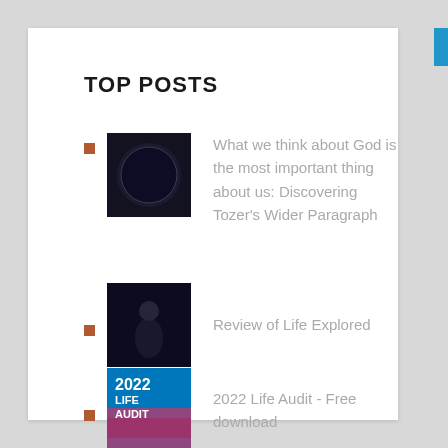TOP POSTS
What we think about God is the most important thing about us: Discovering Tozer's Wider Paragraph
Review of Life Explored
2022 Life Audit - Free download